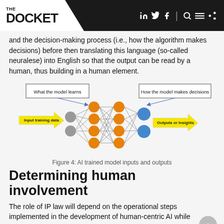THE DOCKET
and the decision-making process (i.e., how the algorithm makes decisions) before then translating this language (so-called neuralese) into English so that the output can be read by a human, thus building in a human element.
[Figure (engineering-diagram): Neural network diagram showing input training data (gray nodes) flowing through orange hidden layer nodes to blue output nodes, with labels 'What the model learns' and 'How the model makes decisions', and yellow arrows for 'Input training data' and 'Outputs or Insights'.]
Figure 4: AI trained model inputs and outputs
Determining human involvement
The role of IP law will depend on the operational steps implemented in the development of human-centric AI while tracking ownership in the data pipeline, such as the following: